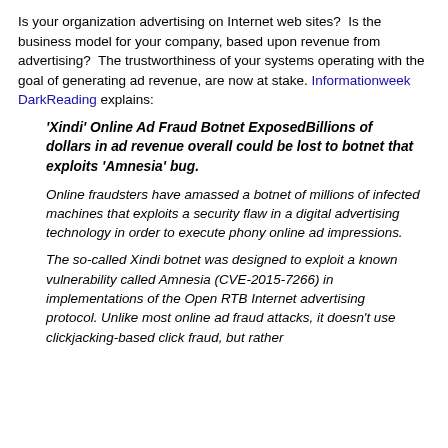Is your organization advertising on Internet web sites?  Is the business model for your company, based upon revenue from advertising?  The trustworthiness of your systems operating with the goal of generating ad revenue, are now at stake. Informationweek DarkReading explains:
'Xindi' Online Ad Fraud Botnet ExposedBillions of dollars in ad revenue overall could be lost to botnet that exploits 'Amnesia' bug.
Online fraudsters have amassed a botnet of millions of infected machines that exploits a security flaw in a digital advertising technology in order to execute phony online ad impressions.
The so-called Xindi botnet was designed to exploit a known vulnerability called Amnesia (CVE-2015-7266) in implementations of the Open RTB Internet advertising protocol. Unlike most online ad fraud attacks, it doesn't use clickjacking-based click fraud, but rather